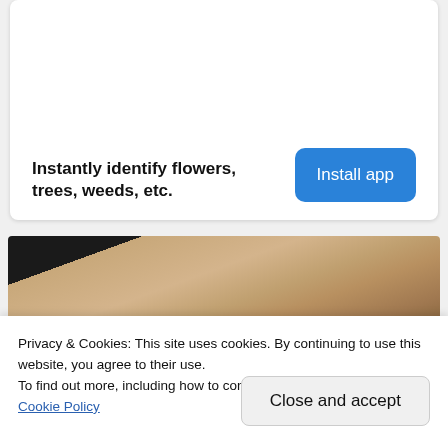[Figure (other): App advertisement card with white background showing plant identification app. Text reads 'Instantly identify flowers, trees, weeds, etc.' with a blue 'Install app' button.]
[Figure (photo): Close-up photo of a dark pan or skillet being held, with a stone countertop surface visible.]
Privacy & Cookies: This site uses cookies. By continuing to use this website, you agree to their use.
To find out more, including how to control cookies, see here:
Cookie Policy
Close and accept